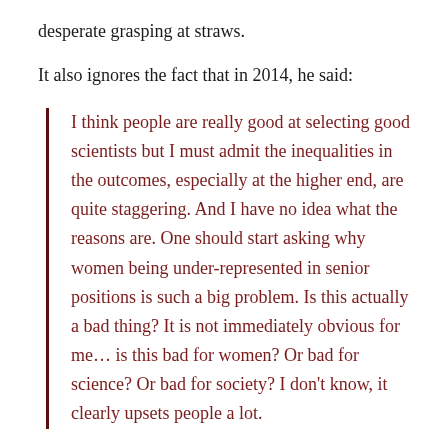desperate grasping at straws.
It also ignores the fact that in 2014, he said:
I think people are really good at selecting good scientists but I must admit the inequalities in the outcomes, especially at the higher end, are quite staggering. And I have no idea what the reasons are. One should start asking why women being under-represented in senior positions is such a big problem. Is this actually a bad thing? It is not immediately obvious for me… is this bad for women? Or bad for science? Or bad for society? I don't know, it clearly upsets people a lot.
Here's what it all means. It does not mean that Hunt is a terrible scientist (I know his work, it's important stuff), it